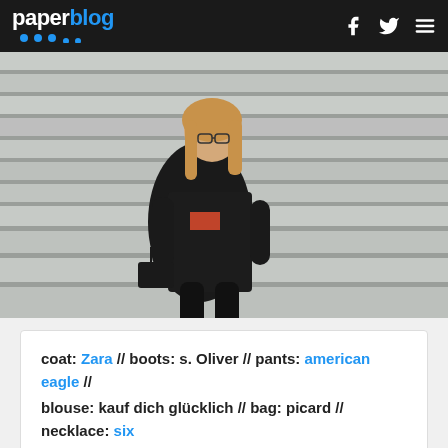paperblog
[Figure (photo): A young woman with glasses and long blonde hair sits on stone steps, wearing a black coat, black pants, and black boots, with a small black crossbody bag beside her.]
coat: Zara // boots: s. Oliver // pants: american eagle // blouse: kauf dich glücklich // bag: picard // necklace: six